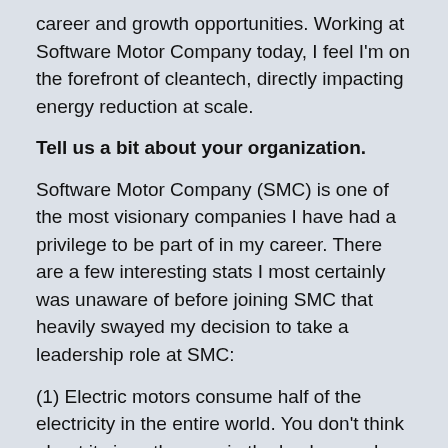career and growth opportunities. Working at Software Motor Company today, I feel I'm on the forefront of cleantech, directly impacting energy reduction at scale.
Tell us a bit about your organization.
Software Motor Company (SMC) is one of the most visionary companies I have had a privilege to be part of in my career. There are a few interesting stats I most certainly was unaware of before joining SMC that heavily swayed my decision to take a leadership role at SMC:
(1) Electric motors consume half of the electricity in the entire world. You don't think about it since they are in the background, unlike lighting that is in the room with us and fairly visible. (2) There is a $100B